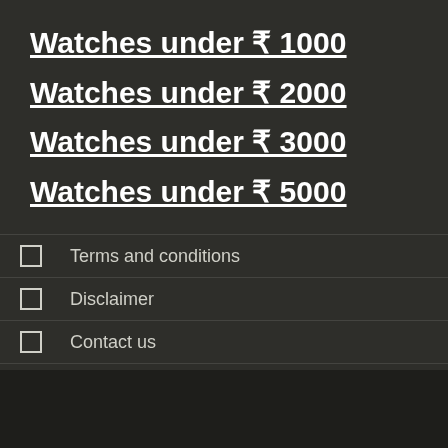Watches under ₹ 1000
Watches under ₹ 2000
Watches under ₹ 3000
Watches under ₹ 5000
Terms and conditions
Disclaimer
Contact us
About us